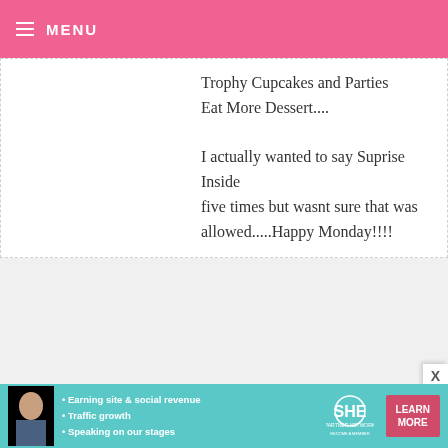MENU
Trophy Cupcakes and Parties
Eat More Dessert....

I actually wanted to say Suprise Inside five times but wasnt sure that was allowed.....Happy Monday!!!!
LORI — MAY 27, 2014 @ 6:34 AM  REPLY
Josey Baker Breads, Meringue Girls, Eat & Make, Cupcakes & Parties, Pure Vanilla. Thanks for the post!